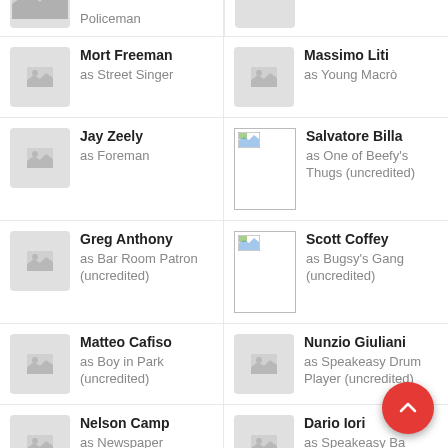Policeman (partial, top)
Mort Freeman as Street Singer
Massimo Liti as Young Macrò
Jay Zeely as Foreman
Salvatore Billa as One of Beefy's Thugs (uncredited)
Greg Anthony as Bar Room Patron (uncredited)
Scott Coffey as Bugsy's Gang (uncredited)
Matteo Cafiso as Boy in Park (uncredited)
Nunzio Giuliani as Speakeasy Drum Player (uncredited)
Nelson Camp as Newspaper Salesman
Dario Iori as Speakeasy Ba... Player (uncredited) (partial)